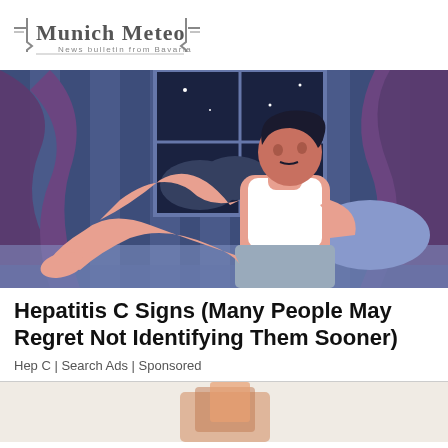Munich Meteo — News bulletin from Bavaria
[Figure (illustration): Illustration of a man sitting on a bed at night, holding his leg, appearing to be in discomfort. Night scene visible through window in background with blue curtains.]
Hepatitis C Signs (Many People May Regret Not Identifying Them Sooner)
Hep C | Search Ads | Sponsored
[Figure (photo): Partial view of a second article image, cropped at bottom of page.]